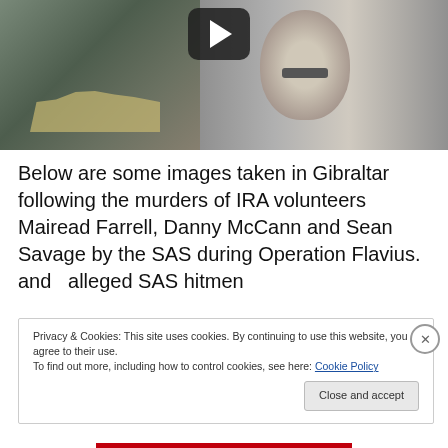[Figure (screenshot): A split video thumbnail showing a cityscape/building on the left half and a black-and-white photo of a man with a mustache on the right half. A play button overlay is visible in the center.]
Below are some images taken in Gibraltar following the murders of IRA volunteers Mairead Farrell, Danny McCann and Sean Savage by the SAS during Operation Flavius. and  alleged SAS hitmen
Privacy & Cookies: This site uses cookies. By continuing to use this website, you agree to their use.
To find out more, including how to control cookies, see here: Cookie Policy